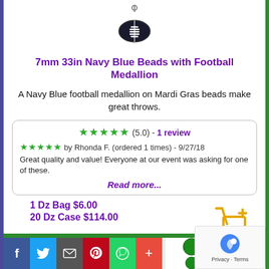[Figure (photo): Black football charm/medallion pendant with white laces on a silver bail]
7mm 33in Navy Blue Beads with Football Medallion
A Navy Blue football medallion on Mardi Gras beads make great throws.
★★★★★ (5.0) - 1 review
★★★★★ by Rhonda F. (ordered 1 times) - 9/27/18
Great quality and value! Everyone at our event was asking for one of these.
Read more...
1 Dz Bag $6.00
20 Dz Case $114.00